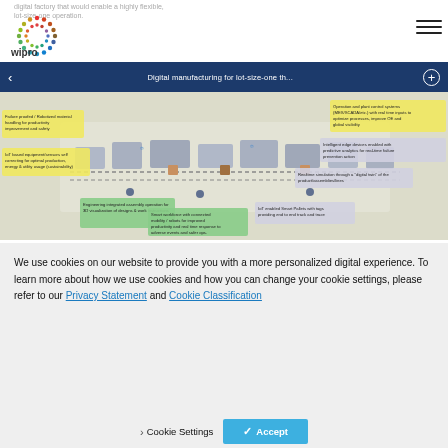digital factory that would enable a highly flexible, lot-size-one operation.
[Figure (logo): Wipro logo with colorful dot circle pattern]
Digital manufacturing for lot-size-one th...
[Figure (infographic): Digital factory floor diagram with annotation callouts: Failure proofed / Robotized material handling for productivity improvement and safety; IoT based equipment/sensors self correcting for optimal production, energy & utility usage (sustainability); Engineering integrated assembly operation for 3D visualization of designs & work instructions; Smart workforce with connected mobility / robots for improved productivity and real time response to adverse events and safer ops; Operation and plant control systems (MES/SCADA/etc.) with real time inputs to optimize processes, improve OE and global visibility; Intelligent edge devices enabled with predictive analytics for real-time failure prevention action; Realtime simulation through a 'digital twin' of the product/assemblies/lines; IoT enabled Smart Pallets with tags providing end to end track and trace]
We use cookies on our website to provide you with a more personalized digital experience. To learn more about how we use cookies and how you can change your cookie settings, please refer to our Privacy Statement and Cookie Classification
Cookie Settings   Accept